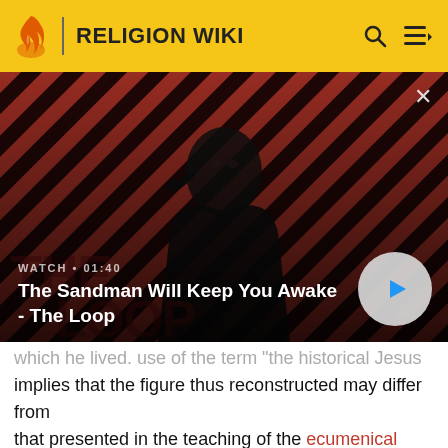RELIGION WIKI
[Figure (screenshot): Video thumbnail showing a dark figure with a crow on shoulder against red diagonal striped background. Text overlay: WATCH • 01:40, The Sandman Will Keep You Awake - The Loop. Play button on right.]
which he lived. use of the term 'the historical Jesus' implies that the figure thus reconstructed may differ from that presented in the teaching of the ecumenical councils ("the dogmatic Christ") and in other Christian accounts ("the Christ of faith").[1]